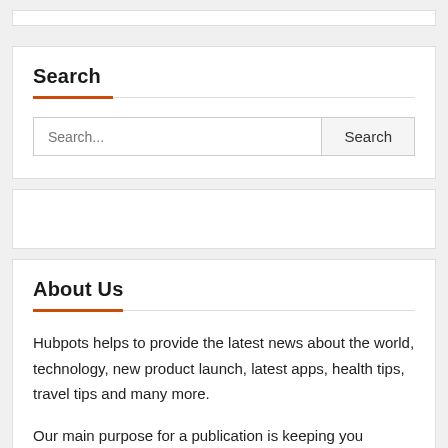Search
Search...
About Us
Hubpots helps to provide the latest news about the world, technology, new product launch, latest apps, health tips, travel tips and many more.
Our main purpose for a publication is keeping you